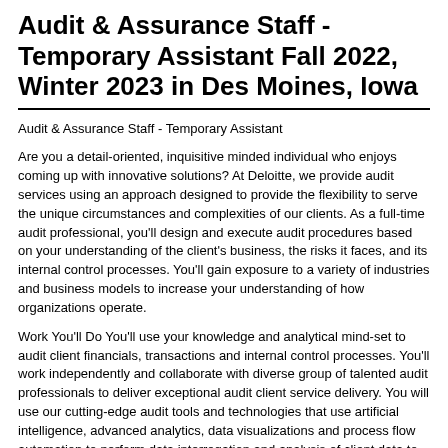Audit & Assurance Staff - Temporary Assistant Fall 2022, Winter 2023 in Des Moines, Iowa
Audit & Assurance Staff - Temporary Assistant
Are you a detail-oriented, inquisitive minded individual who enjoys coming up with innovative solutions? At Deloitte, we provide audit services using an approach designed to provide the flexibility to serve the unique circumstances and complexities of our clients. As a full-time audit professional, you'll design and execute audit procedures based on your understanding of the client's business, the risks it faces, and its internal control processes. You'll gain exposure to a variety of industries and business models to increase your understanding of how organizations operate.
Work You'll Do You'll use your knowledge and analytical mind-set to audit client financials, transactions and internal control processes. You'll work independently and collaborate with diverse group of talented audit professionals to deliver exceptional audit client service delivery. You will use our cutting-edge audit tools and technologies that use artificial intelligence, advanced analytics, data visualizations and process flow automation to perform data interrogation and analysis of client data to share a dynamic picture